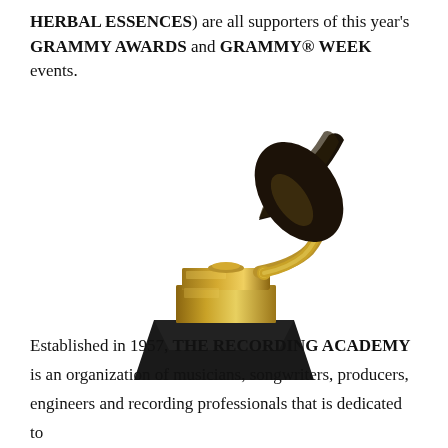HERBAL ESSENCES) are all supporters of this year's GRAMMY AWARDS and GRAMMY® WEEK events.
[Figure (photo): Gold Grammy Award trophy (gramophone statuette) on a black base, photographed against a white background.]
Established in 1957, THE RECORDING ACADEMY is an organization of musicians, songwriters, producers, engineers and recording professionals that is dedicated to